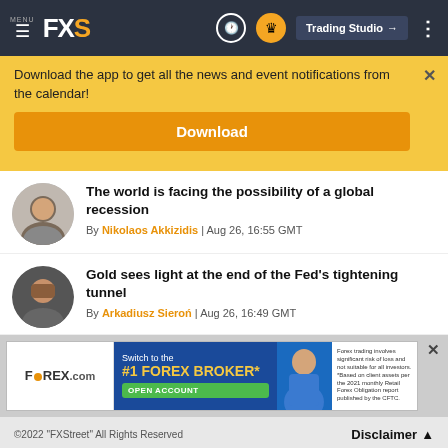FXS — Trading Studio navigation bar
Download the app to get all the news and event notifications from the calendar!
Download
The world is facing the possibility of a global recession
By Nikolaos Akkizidis | Aug 26, 16:55 GMT
Gold sees light at the end of the Fed's tightening tunnel
By Arkadiusz Sieroń | Aug 26, 16:49 GMT
[Figure (screenshot): FOREX.com advertisement banner: Switch to the #1 FOREX BROKER* OPEN ACCOUNT]
©2022 “FXStreet” All Rights Reserved   Disclaimer